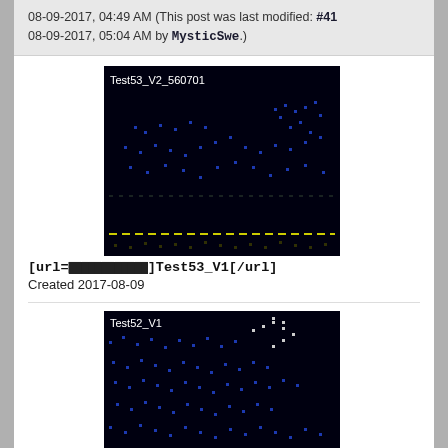08-09-2017, 04:49 AM (This post was last modified: #41 08-09-2017, 05:04 AM by MysticSwe.)
[Figure (screenshot): Dark simulation image labeled Test53_V2_560701 with blue dotted patterns and a yellow dashed horizontal line near the bottom]
[url=                    ]Test53_V1[/url]
Created 2017-08-09
[Figure (screenshot): Dark simulation image labeled Test52_V1 with blue dotted wave patterns and a white dotted arrow shape]
[url=                    ]Test52_V1[/url]
Created 2017-08-09
[Figure (screenshot): Dark simulation image labeled Test51_V1 with blue dotted patterns (partially visible, cut off)]